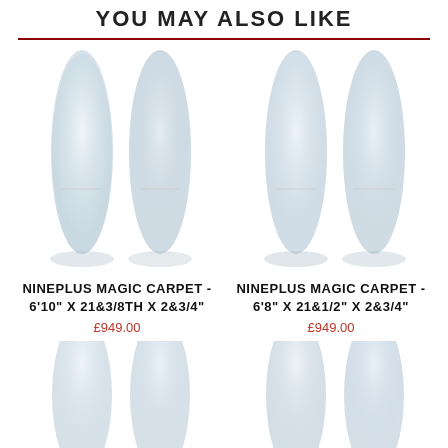YOU MAY ALSO LIKE
[Figure (photo): Product image of Nineplus Magic Carpet surfboard - 6'10" x 21&3/8th x 2&3/4"]
NINEPLUS MAGIC CARPET - 6'10" X 21&3/8TH X 2&3/4"
£949.00
[Figure (photo): Product image of Nineplus Magic Carpet surfboard - 6'8" x 21&1/2" x 2&3/4"]
NINEPLUS MAGIC CARPET - 6'8" X 21&1/2" X 2&3/4"
£949.00
[Figure (photo): Product image of another Nineplus Magic Carpet surfboard (partial, bottom of page)]
[Figure (photo): Product image of another Nineplus Magic Carpet surfboard (partial, bottom of page)]